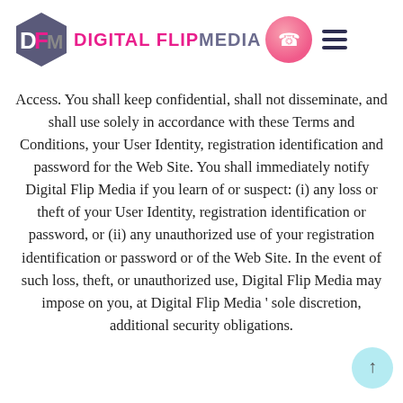DIGITAL FLIP MEDIA
Access. You shall keep confidential, shall not disseminate, and shall use solely in accordance with these Terms and Conditions, your User Identity, registration identification and password for the Web Site. You shall immediately notify Digital Flip Media if you learn of or suspect: (i) any loss or theft of your User Identity, registration identification or password, or (ii) any unauthorized use of your registration identification or password or of the Web Site. In the event of such loss, theft, or unauthorized use, Digital Flip Media may impose on you, at Digital Flip Media ' sole discretion, additional security obligations.